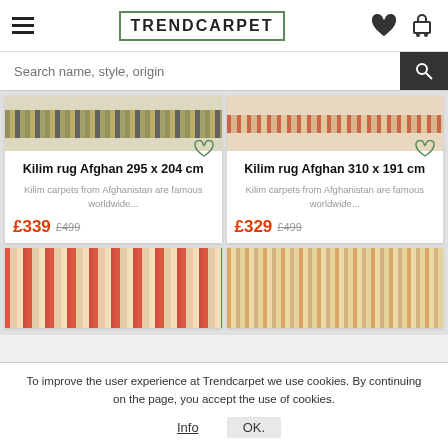TRENDCARPET
Search name, style, origin
Kilim rug Afghan 295 x 204 cm
Kilim carpets from Afghanistan are famous worldwide...
£339 £499
Kilim rug Afghan 310 x 191 cm
Kilim carpets from Afghanistan are famous worldwide...
£329 £499
To improve the user experience at Trendcarpet we use cookies. By continuing on the page, you accept the use of cookies.
Info   OK.